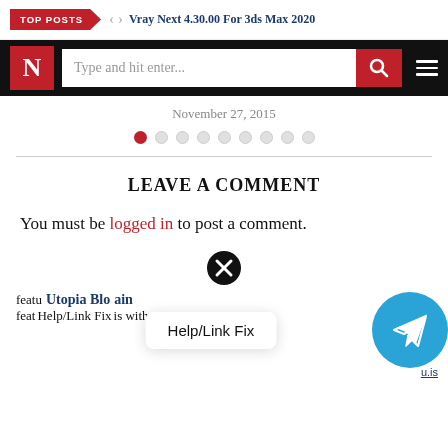TOP POSTS  <  >  Vray Next 4.30.00 For 3ds Max 2020
[Figure (screenshot): Navigation bar with N logo, search input 'Type and hit enter...', search button, and hamburger menu on black background]
November 27, 2015
[Figure (infographic): Pagination dots row: one red filled dot followed by 8 empty grey dots]
LEAVE A COMMENT
You must be logged in to post a comment.
[Figure (other): Black circle with white X close button icon]
featu  Utopia Blo  ain  is  with
[Figure (other): Help/Link Fix popup box and Telegram blue circle button with paper plane icon]